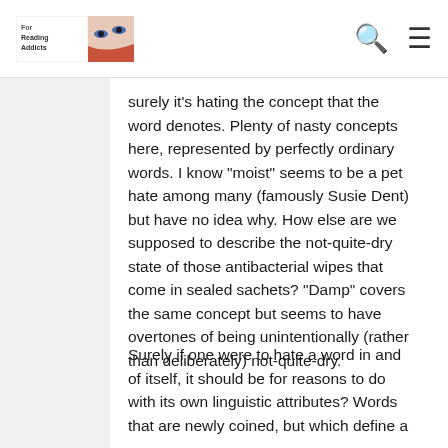For Reading Addicts [logo]
surely it’s hating the concept that the word denotes. Plenty of nasty concepts here, represented by perfectly ordinary words. I know “moist” seems to be a pet hate among many (famously Susie Dent) but have no idea why. How else are we supposed to describe the not-quite-dry state of those antibacterial wipes that come in sealed sachets? “Damp” covers the same concept but seems to have overtones of being unintentionally (rather than deliberately) not-quite-dry.
Surely if one were to hate a word in and of itself, it should be for reasons to do with its own linguistic attributes? Words that are newly coined, but which define a